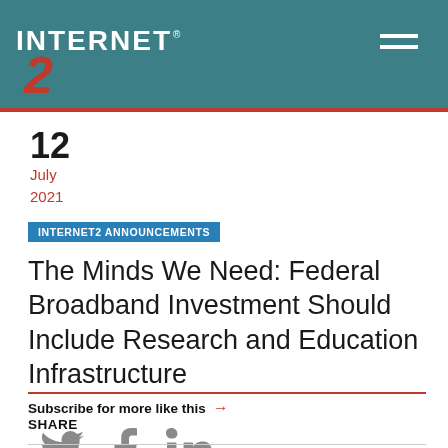INTERNET2
12
July
2021
INTERNET2 ANNOUNCEMENTS
The Minds We Need: Federal Broadband Investment Should Include Research and Education Infrastructure
Subscribe for more like this →
SHARE